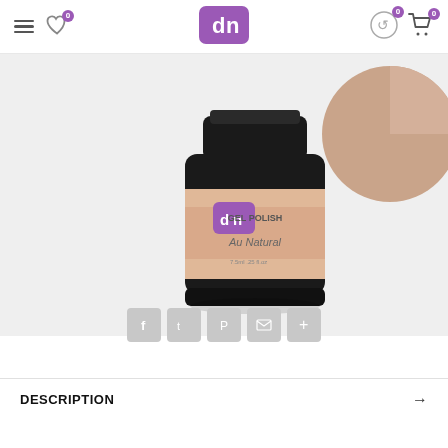DN Gel Polish - Au Natural product page header with navigation: menu, wishlist (0), DN logo, returns icon (0), cart (0)
[Figure (photo): Bottle of DN Gel Polish in 'Au Natural' shade (nude/blush pink), with a round swatch of the color visible top-right. The bottle has a black cap and label showing the DN logo, 'GEL POLISH', 'Au Natural', and small icons.]
[Figure (infographic): Social sharing buttons: Facebook, Twitter, Pinterest, Email, More (+)]
DESCRIPTION